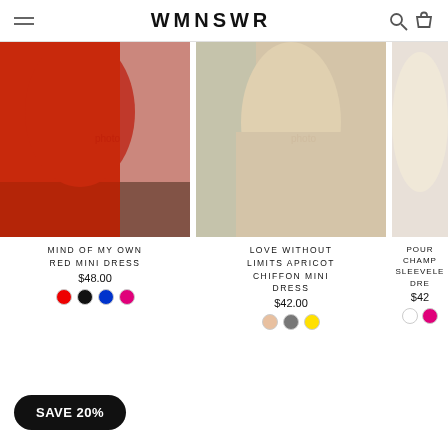WMNSWR
[Figure (photo): Woman in a red long-sleeve mini dress posing on stairs]
MIND OF MY OWN RED MINI DRESS
$48.00
[Figure (photo): Woman in a beige/apricot chiffon mini dress carrying a brown bag]
LOVE WITHOUT LIMITS APRICOT CHIFFON MINI DRESS
$42.00
[Figure (photo): Partial view of a third dress product (champagne/sleeveless)]
POUR CHAMP SLEEVELE DRE
$42
SAVE 20%